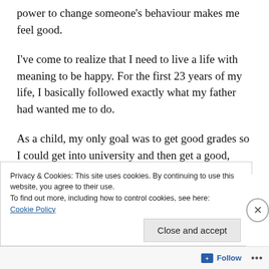power to change someone's behaviour makes me feel good.
I've come to realize that I need to live a life with meaning to be happy. For the first 23 years of my life, I basically followed exactly what my father had wanted me to do.
As a child, my only goal was to get good grades so I could get into university and then get a good, stable job.
Privacy & Cookies: This site uses cookies. By continuing to use this website, you agree to their use.
To find out more, including how to control cookies, see here:
Cookie Policy
Close and accept
Follow ...